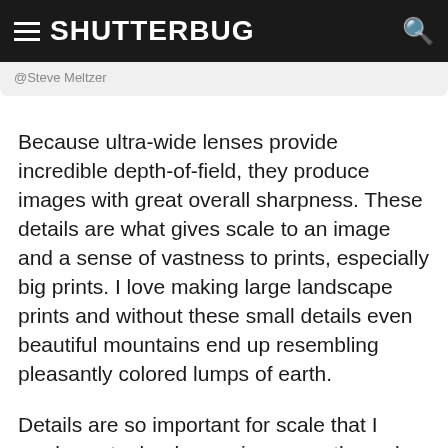SHUTTERBUG
@Steve Meltzer
Because ultra-wide lenses provide incredible depth-of-field, they produce images with great overall sharpness. These details are what gives scale to an image and a sense of vastness to prints, especially big prints. I love making large landscape prints and without these small details even beautiful mountains end up resembling pleasantly colored lumps of earth.
Details are so important for scale that I rarely post a landscape image on the web. Viewing a spectacular scenic image on a tiny iPhone or iPad reduce details to those of a postcard snapshot.